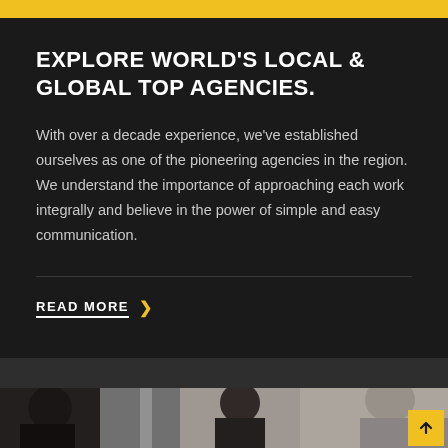EXPLORE WORLD'S LOCAL & GLOBAL TOP AGENCIES.
With over a decade experience, we've established ourselves as one of the pioneering agencies in the region. We understand the importance of approaching each work integrally and believe in the power of simple and easy communication.
READ MORE >
[Figure (photo): Black and white photograph of people in a meeting or discussion, showing three individuals in a professional setting.]